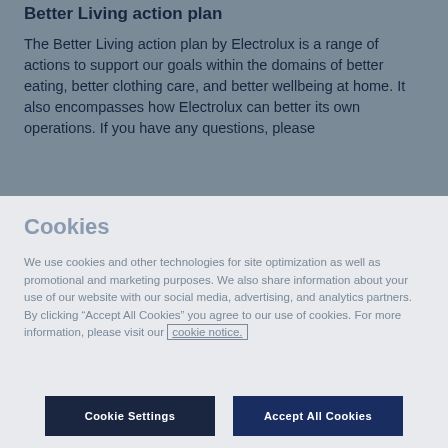Better Living action plan
The Better Living action plan by Electrolux is a range of actions to support our goals within the domains of better eating, better clothing care, and better wellbeing at home. It also encompasses how Electrolux can better its own operations. If you have any questions, please
Cookies
We use cookies and other technologies for site optimization as well as promotional and marketing purposes. We also share information about your use of our website with our social media, advertising, and analytics partners. By clicking “Accept All Cookies” you agree to our use of cookies. For more information, please visit our cookie notice.